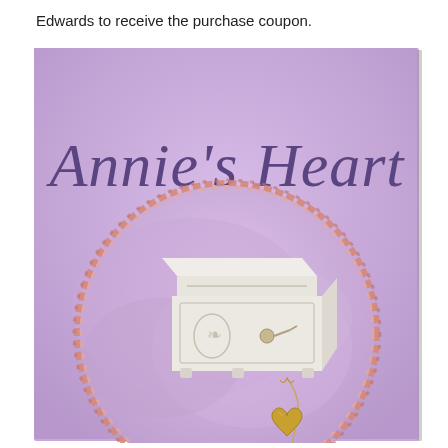Edwards to receive the purchase coupon.
[Figure (illustration): Book cover for 'Annie's Heart' with a lavender/purple background, large italic script title text 'Annie's Heart' in dark purple, and a circular image bordered by a braided pink/rose rope showing a white ornate jewelry box with a gold heart-shaped locket on a chain resting on purple satin fabric.]